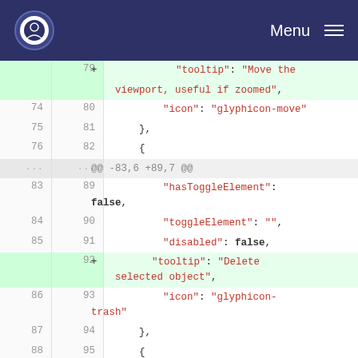Menu
[Figure (screenshot): Code diff view showing JSON configuration file changes. Lines 79-104 visible with added lines 79 and 92 highlighted in green. Content includes tooltip, icon, hasToggleElement, toggleElement, disabled properties with values like 'Move the viewport, useful if zoomed', 'glyphicon-move', 'Delete selected object', 'glyphicon-trash'.]